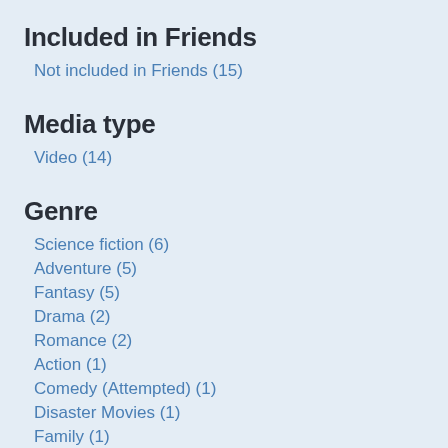Included in Friends
Not included in Friends (15)
Media type
Video (14)
Genre
Science fiction (6)
Adventure (5)
Fantasy (5)
Drama (2)
Romance (2)
Action (1)
Comedy (Attempted) (1)
Disaster Movies (1)
Family (1)